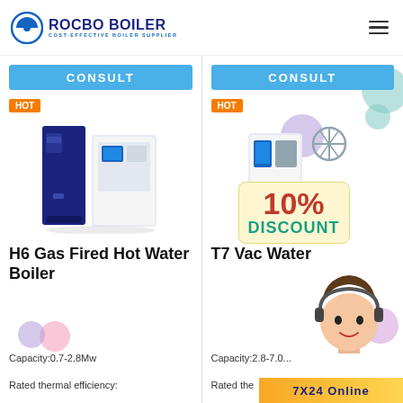ROCBO BOILER – COST-EFFECTIVE BOILER SUPPLIER
CONSULT
CONSULT
HOT
HOT
[Figure (photo): H6 Gas Fired Hot Water Boiler product photo – two-unit system, dark blue tall unit on left and white/grey cabinet on right]
H6 Gas Fired Hot Water Boiler
Capacity:0.7-2.8Mw
Rated thermal efficiency:
[Figure (photo): T7 Vacuum Hot Water Boiler product photo with 10% DISCOUNT badge overlay and satellite dish element]
10% DISCOUNT
T7 Vac Water
Capacity:2.8-7.0...
Rated the
7X24 Online